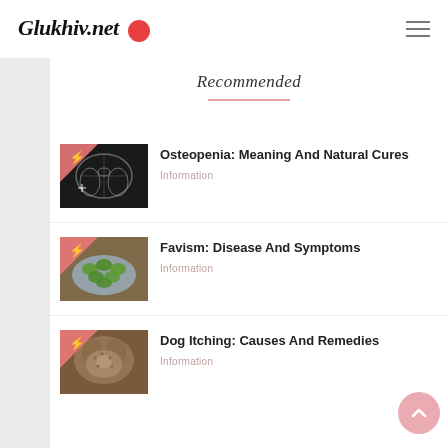Glukhiv.net
Recommended
[Figure (photo): X-ray image of a hand/wrist joint showing bone structure]
Osteopenia: Meaning And Natural Cures
Information
[Figure (photo): Green fava beans on a plate]
Favism: Disease And Symptoms
Information
[Figure (photo): Dog with itching skin condition]
Dog Itching: Causes And Remedies
Information